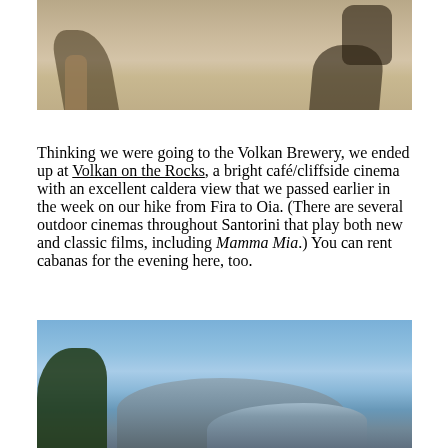[Figure (photo): Sepia-toned outdoor photo showing legs/feet of a person and a shadow on a sandy/paved surface, with a dark bag or object on the right side.]
Thinking we were going to the Volkan Brewery, we ended up at Volkan on the Rocks, a bright café/cliffside cinema with an excellent caldera view that we passed earlier in the week on our hike from Fira to Oia. (There are several outdoor cinemas throughout Santorini that play both new and classic films, including Mamma Mia.) You can rent cabanas for the evening here, too.
[Figure (photo): Outdoor photo showing a clear blue sky with a tree silhouette on the left and distant mountains or hills on the horizon.]